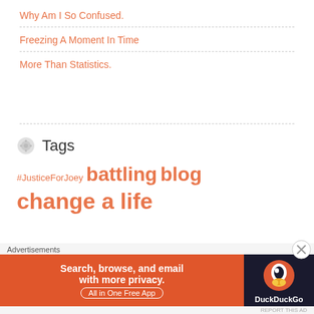Why Am I So Confused.
Freezing A Moment In Time
More Than Statistics.
Tags
#JusticeForJoey battling blog change a life
[Figure (other): DuckDuckGo advertisement banner: 'Search, browse, and email with more privacy. All in One Free App' with DuckDuckGo logo on dark background]